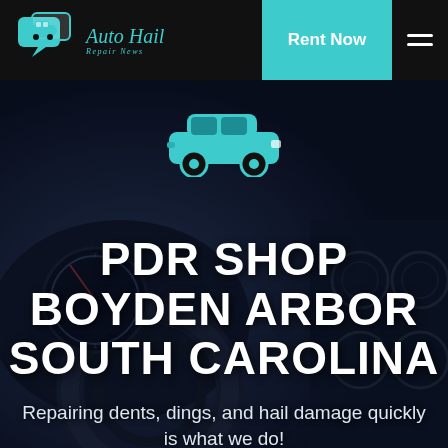Auto Hail Repair News — Rent Now navigation bar
[Figure (screenshot): Auto Hail Repair News logo with teal speech-bubble car icons and italic script text, on black navigation bar with Rent Now button and hamburger menu]
[Figure (photo): Dark car interior dashboard and steering wheel background image with a teal car icon overlay]
PDR SHOP BOYDEN ARBOR SOUTH CAROLINA
Repairing dents, dings, and hail damage quickly is what we do!